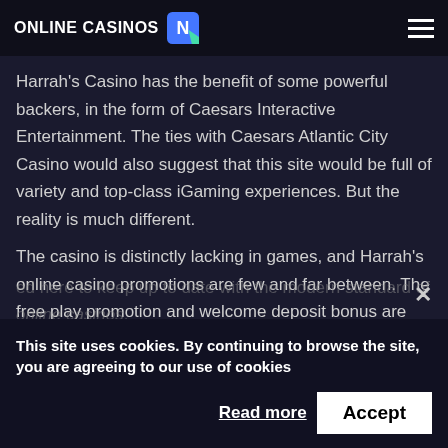ONLINE CASINOS
Harrah’s Casino has the benefit of some powerful backers, in the form of Caesars Interactive Entertainment. The ties with Caesars Atlantic City Casino would also suggest that this site would be full of variety and top-class iGaming experiences. But the reality is much different.
The casino is distinctly lacking in games, and Harrah’s online casino promotions are few and far between. The free play promotion and welcome deposit bonus are the only highlights we can find. There are just enough games to play through your new player bonuses, but you won’t want to stay much longer after that.
This site uses cookies. By continuing to browse the site, you are agreeing to our use of cookies
Click Here for More Online Casino Reviews